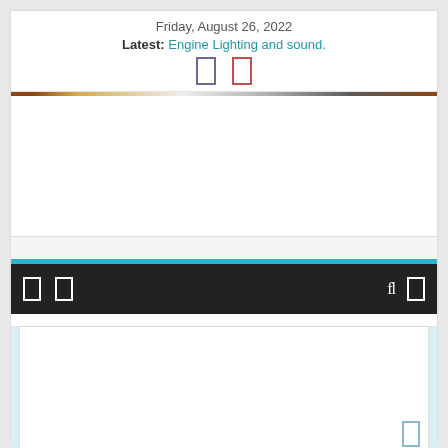Friday, August 26, 2022
Latest: Engine Lighting and sound.
[Figure (other): Two small icon boxes (blue-bordered and red-bordered rectangles) in header]
[Figure (other): Decorative color bar stripe across page]
[Figure (other): Large white content area / ad placeholder]
[Figure (other): Dark navigation bar with white icon boxes on left and fi ligature icon on right, with cyan bar above]
[Figure (other): Light blue bottom content section with white card and blue-bordered icon at bottom right]